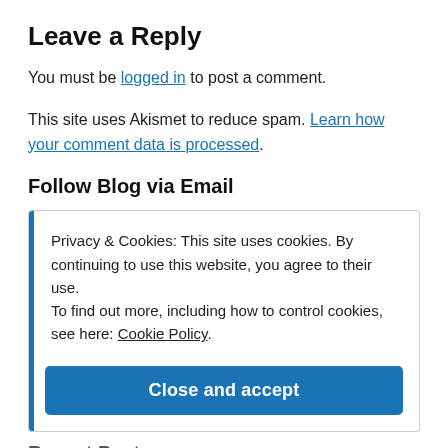Leave a Reply
You must be logged in to post a comment.
This site uses Akismet to reduce spam. Learn how your comment data is processed.
Follow Blog via Email
Privacy & Cookies: This site uses cookies. By continuing to use this website, you agree to their use. To find out more, including how to control cookies, see here: Cookie Policy
Close and accept
Recent Posts